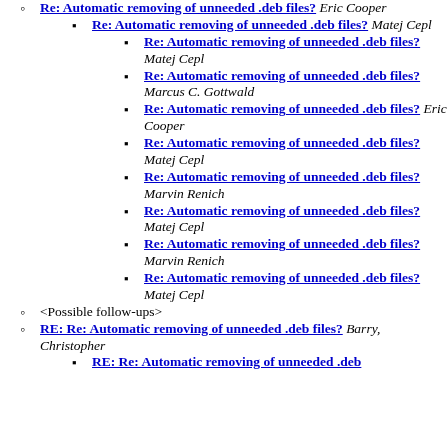Re: Automatic removing of unneeded .deb files? Eric Cooper
Re: Automatic removing of unneeded .deb files? Matej Cepl
Re: Automatic removing of unneeded .deb files? Matej Cepl
Re: Automatic removing of unneeded .deb files? Marcus C. Gottwald
Re: Automatic removing of unneeded .deb files? Eric Cooper
Re: Automatic removing of unneeded .deb files? Matej Cepl
Re: Automatic removing of unneeded .deb files? Marvin Renich
Re: Automatic removing of unneeded .deb files? Matej Cepl
Re: Automatic removing of unneeded .deb files? Marvin Renich
Re: Automatic removing of unneeded .deb files? Matej Cepl
<Possible follow-ups>
RE: Re: Automatic removing of unneeded .deb files? Barry, Christopher
RE: Re: Automatic removing of unneeded .deb files? Matej Cepl